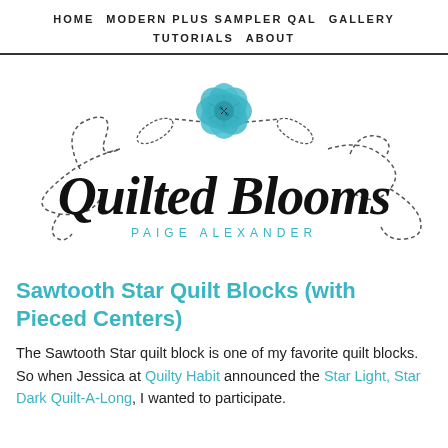HOME  MODERN PLUS SAMPLER QAL  GALLERY  TUTORIALS  ABOUT
[Figure (logo): Quilted Blooms logo featuring a teal/turquoise fabric flower button at the top with dashed swirling vine lines, 'Quilted Blooms' in large black script font, and 'PAIGE ALEXANDER' in teal spaced capital letters underneath.]
Sawtooth Star Quilt Blocks (with Pieced Centers)
The Sawtooth Star quilt block is one of my favorite quilt blocks.  So when Jessica at Quilty Habit announced the Star Light, Star Dark Quilt-A-Long, I wanted to participate.